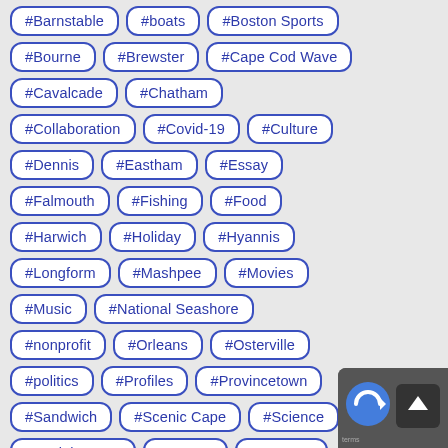#Barnstable
#boats
#Boston Sports
#Bourne
#Brewster
#Cape Cod Wave
#Cavalcade
#Chatham
#Collaboration
#Covid-19
#Culture
#Dennis
#Eastham
#Essay
#Falmouth
#Fishing
#Food
#Harwich
#Holiday
#Hyannis
#Longform
#Mashpee
#Movies
#Music
#National Seashore
#nonprofit
#Orleans
#Osterville
#politics
#Profiles
#Provincetown
#Sandwich
#Scenic Cape
#Science
#Social Issues
#Storms
#Summer
#surfing
#Truro
#Wellfleet
#Woods Hole
#Yarmouth